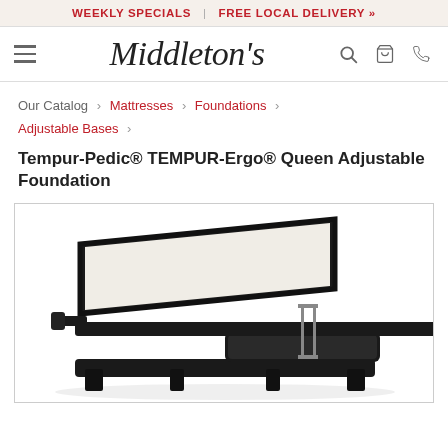WEEKLY SPECIALS | FREE LOCAL DELIVERY »
Middleton's
Our Catalog › Mattresses › Foundations › Adjustable Bases ›
Tempur-Pedic® TEMPUR-Ergo® Queen Adjustable Foundation
[Figure (photo): Tempur-Pedic TEMPUR-Ergo adjustable base shown at an angle with the head section raised, displayed against a white background.]